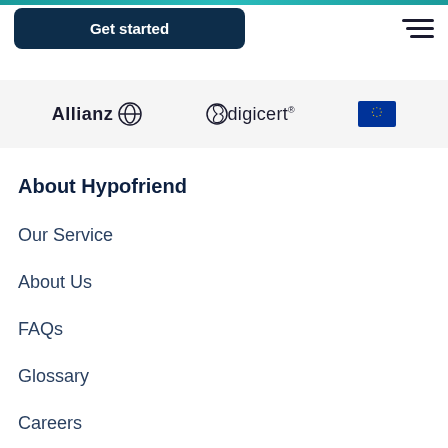[Figure (logo): Teal/cyan gradient top bar]
Get started
[Figure (other): Hamburger menu icon (three horizontal lines)]
[Figure (logo): Logos band with Allianz, DigiCert, and EU flag logos on light grey background]
About Hypofriend
Our Service
About Us
FAQs
Glossary
Careers
Refer